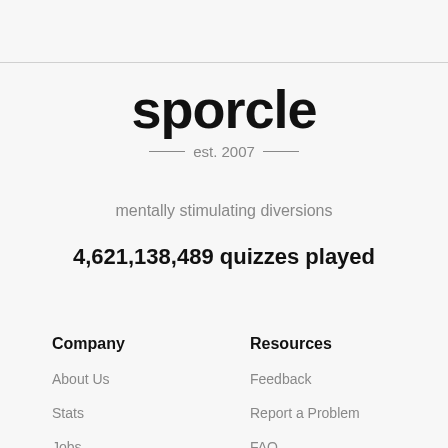sporcle
est. 2007
mentally stimulating diversions
4,621,138,489 quizzes played
Company
Resources
About Us
Feedback
Stats
Report a Problem
Jobs
FAQ